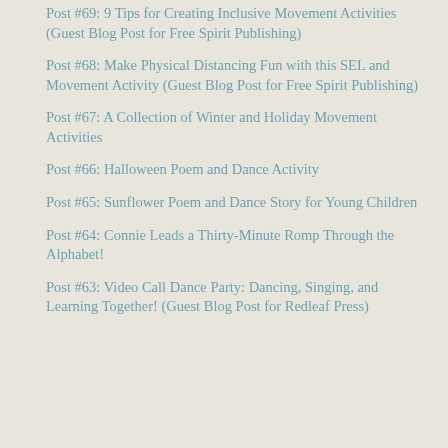Post #69: 9 Tips for Creating Inclusive Movement Activities (Guest Blog Post for Free Spirit Publishing)
Post #68: Make Physical Distancing Fun with this SEL and Movement Activity (Guest Blog Post for Free Spirit Publishing)
Post #67: A Collection of Winter and Holiday Movement Activities
Post #66: Halloween Poem and Dance Activity
Post #65: Sunflower Poem and Dance Story for Young Children
Post #64: Connie Leads a Thirty-Minute Romp Through the Alphabet!
Post #63: Video Call Dance Party: Dancing, Singing, and Learning Together! (Guest Blog Post for Redleaf Press)